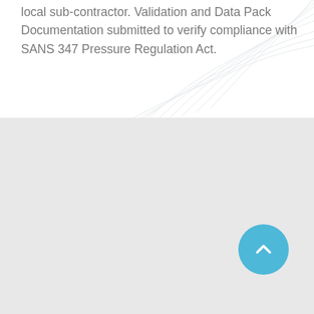local sub-contractor. Validation and Data Pack Documentation submitted to verify compliance with SANS 347 Pressure Regulation Act.
[Figure (other): Light gray decorative topographic or engineering line pattern in the background of the top section]
[Figure (other): A circular sky-blue scroll-to-top button with a white upward chevron arrow, positioned in the lower-right area of the bottom gray section]